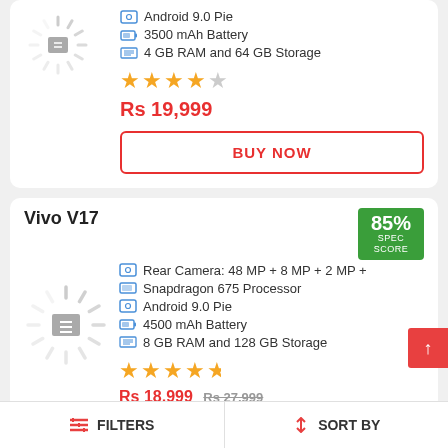Android 9.0 Pie
3500 mAh Battery
4 GB RAM and 64 GB Storage
★★★★☆
Rs 19,999
BUY NOW
Vivo V17
85% SPEC SCORE
[Figure (photo): Product image placeholder with loading spinner for Vivo V17]
Rear Camera: 48 MP + 8 MP + 2 MP +
Snapdragon 675 Processor
Android 9.0 Pie
4500 mAh Battery
8 GB RAM and 128 GB Storage
★★★★½
FILTERS   SORT BY